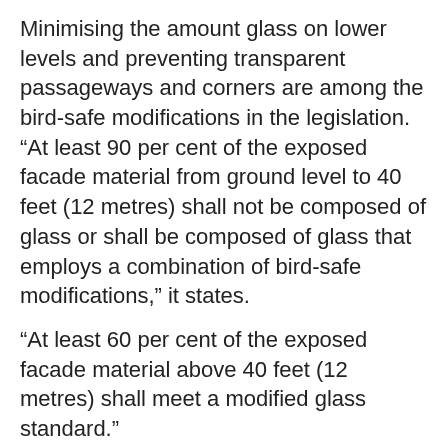Minimising the amount glass on lower levels and preventing transparent passageways and corners are among the bird-safe modifications in the legislation.
"At least 90 per cent of the exposed facade material from ground level to 40 feet (12 metres) shall not be composed of glass or shall be composed of glass that employs a combination of bird-safe modifications," it states.
"At least 60 per cent of the exposed facade material above 40 feet (12 metres) shall meet a modified glass standard."
The glass standards would also apply to walls around a courtyard with water features, plants and "materials attractive to birds", while other regulations include shielding outside lights.